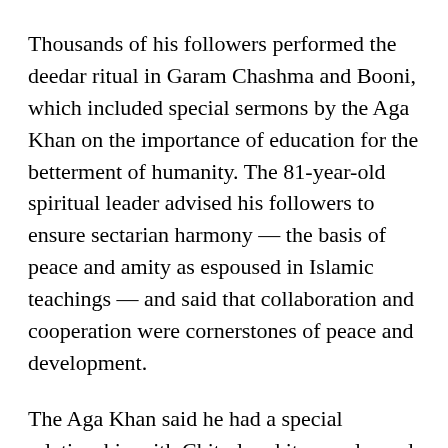Thousands of his followers performed the deedar ritual in Garam Chashma and Booni, which included special sermons by the Aga Khan on the importance of education for the betterment of humanity. The 81-year-old spiritual leader advised his followers to ensure sectarian harmony — the basis of peace and amity as espoused in Islamic teachings — and said that collaboration and cooperation were cornerstones of peace and development.
The Aga Khan said he had a special relationship with Chitral and its people, and was aware of their issues and problems. He said he would consider various proposals to lend his help.
He last visited Chitral in 2003. His visit this year marks the golden jubilee celebrations of his imamat. To join the celebrations, hundreds of thousands of his followers gathered in Chitral, and many more have arrived in Gilgit and Hunza, where he is expected to deliver a sermon today (Sunday).